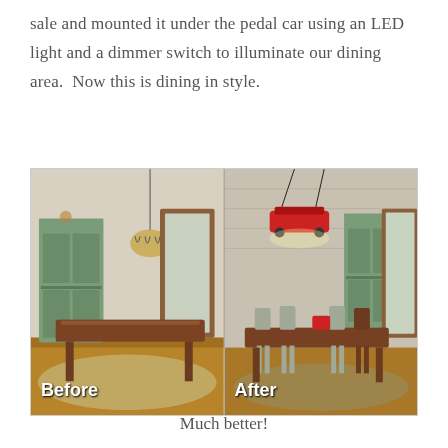sale and mounted it under the pedal car using an LED light and a dimmer switch to illuminate our dining area.  Now this is dining in style.
[Figure (photo): Before and after comparison of a dining room. Left panel labeled 'Before' shows an empty wooden dining table with no chairs and a pendant chandelier. Right panel labeled 'After' shows the same room with chairs around the table and a pedal car mounted overhead as a light fixture, illuminating the dining area.]
Much better!